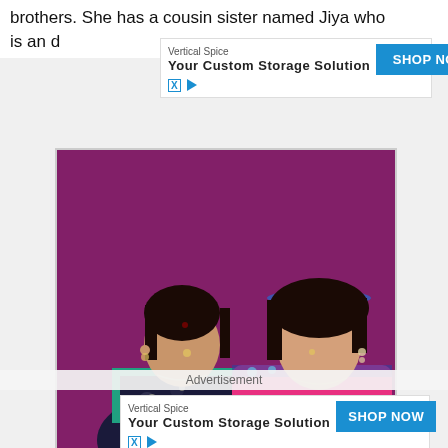brothers. She has a cousin sister named Jiya who is an d...
[Figure (other): Advertisement banner: Vertical Spice - Your Custom Storage Solution - SHOP NOW button]
[Figure (photo): Photo of two women posing together against a purple background. The woman on the left is older wearing a dark floral top with teal trim. The younger woman on the right is wearing a pink embroidered kurti and a blue hairband.]
Advertisement
[Figure (other): Advertisement banner: Vertical Spice - Your Custom Storage Solution - SHOP NOW button]